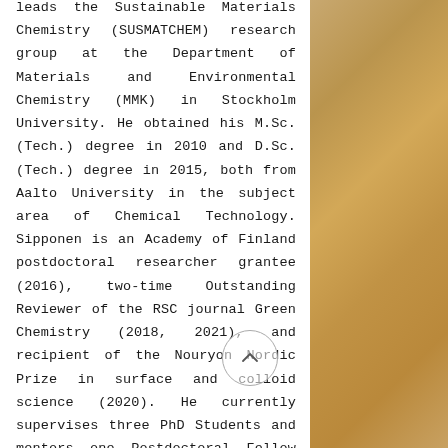leads the Sustainable Materials Chemistry (SUSMATCHEM) research group at the Department of Materials and Environmental Chemistry (MMK) in Stockholm University. He obtained his M.Sc. (Tech.) degree in 2010 and D.Sc. (Tech.) degree in 2015, both from Aalto University in the subject area of Chemical Technology. Sipponen is an Academy of Finland postdoctoral researcher grantee (2016), two-time Outstanding Reviewer of the RSC journal Green Chemistry (2018, 2021), and recipient of the Nouryon Nordic Prize in surface and colloid science (2020). He currently supervises three PhD Students and mentors one Postdoctoral Fellow and one Researcher. He has worked on topics related to lignin
[Figure (photo): Tan/beige textured background on the right side of the page, appears to be a close-up of a fibrous or sandy material]